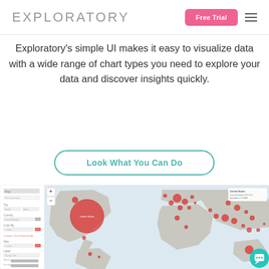EXPLORATORY
Exploratory’s simple UI makes it easy to visualize data with a wide range of chart types you need to explore your data and discover insights quickly.
Look What You Can Do
[Figure (screenshot): Screenshot of Exploratory application showing a world map with red bubble markers of varying sizes indicating data volume by country/region. Left panel shows map configuration controls. A teal chat icon is visible in the bottom-right corner.]